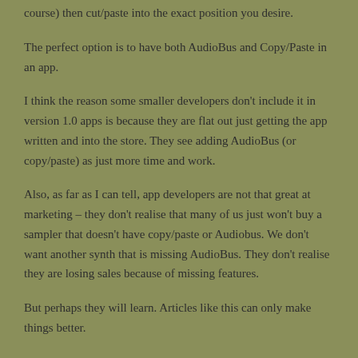course) then cut/paste into the exact position you desire.
The perfect option is to have both AudioBus and Copy/Paste in an app.
I think the reason some smaller developers don't include it in version 1.0 apps is because they are flat out just getting the app written and into the store. They see adding AudioBus (or copy/paste) as just more time and work.
Also, as far as I can tell, app developers are not that great at marketing – they don't realise that many of us just won't buy a sampler that doesn't have copy/paste or Audiobus. We don't want another synth that is missing AudioBus. They don't realise they are losing sales because of missing features.
But perhaps they will learn. Articles like this can only make things better.